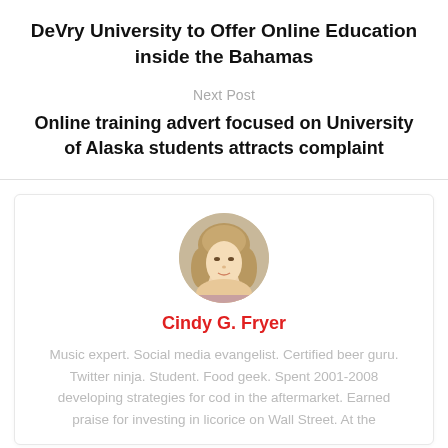DeVry University to Offer Online Education inside the Bahamas
Next Post
Online training advert focused on University of Alaska students attracts complaint
[Figure (photo): Circular profile photo of a young woman with long blonde wavy hair]
Cindy G. Fryer
Music expert. Social media evangelist. Certified beer guru. Twitter ninja. Student. Food geek. Spent 2001-2008 developing strategies for cod in the aftermarket. Earned praise for investing in licorice on Wall Street. At the